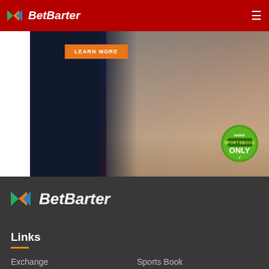BetBarter
[Figure (photo): Cricket player holding a bat wearing white uniform, with a 'LEARN MORE' orange button, betfair Sportsbook ONLY green badge, and disclaimer text at the bottom]
[Figure (logo): BetBarter logo in footer - colorful arrow icon with italic bold white text]
Links
Exchange
Sports Book